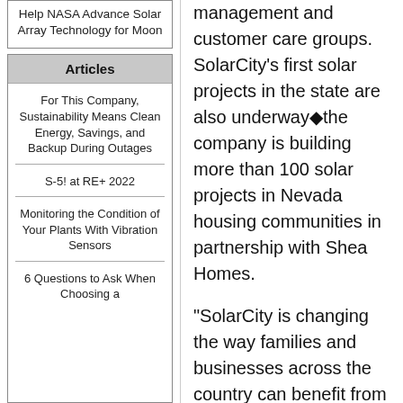Help NASA Advance Solar Array Technology for Moon
Articles
For This Company, Sustainability Means Clean Energy, Savings, and Backup During Outages
S-5! at RE+ 2022
Monitoring the Condition of Your Plants With Vibration Sensors
6 Questions to Ask When Choosing a
management and customer care groups. SolarCity's first solar projects in the state are also underway◆the company is building more than 100 solar projects in Nevada housing communities in partnership with Shea Homes.
"SolarCity is changing the way families and businesses across the country can benefit from clean energy and I am pleased that such an